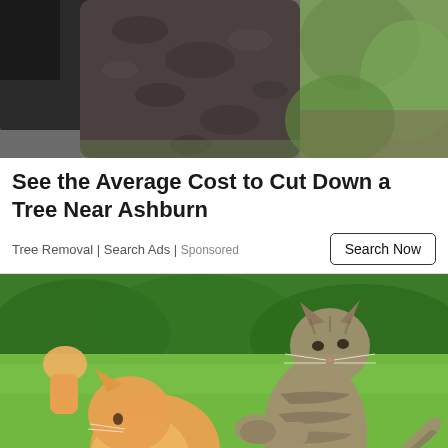[Figure (photo): Close-up photo of a large tree trunk with rough bark, green grass and foliage visible in the background, and a dark figure partially visible on the left side.]
See the Average Cost to Cut Down a Tree Near Ashburn
Tree Removal | Search Ads | Sponsored
[Figure (photo): Two cats fighting or playing on a green lawn outdoors. An orange/cream fluffy cat on the left raises its paw, while a tabby cat on the right stands on its hind legs facing the orange cat, with green hedges in the background.]